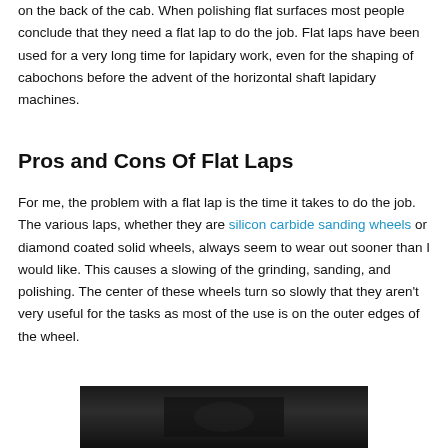on the back of the cab. When polishing flat surfaces most people conclude that they need a flat lap to do the job. Flat laps have been used for a very long time for lapidary work, even for the shaping of cabochons before the advent of the horizontal shaft lapidary machines.
Pros and Cons Of Flat Laps
For me, the problem with a flat lap is the time it takes to do the job. The various laps, whether they are silicon carbide sanding wheels or diamond coated solid wheels, always seem to wear out sooner than I would like. This causes a slowing of the grinding, sanding, and polishing. The center of these wheels turn so slowly that they aren't very useful for the tasks as most of the use is on the outer edges of the wheel.
[Figure (photo): Dark photograph, partially visible at bottom of page, appears to show lapidary equipment or stones]